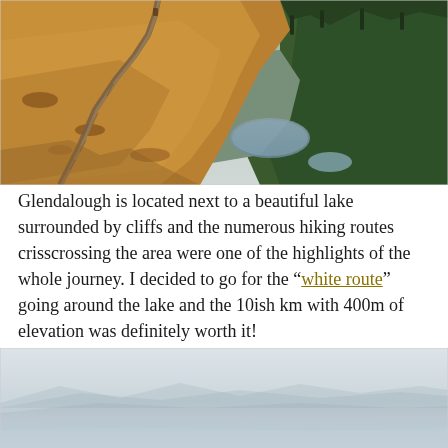[Figure (photo): Mountain hiking trail winding across golden-brown grassy hillside with a lake and green forest valley below, viewed from an elevated vantage point. Rocky dirt path goes across the hill. Mountains and overcast sky in the background.]
Glendalough is located next to a beautiful lake surrounded by cliffs and the numerous hiking routes crisscrossing the area were one of the highlights of the whole journey. I decided to go for the “white route” going around the lake and the 10ish km with 400m of elevation was definitely worth it!
[Figure (photo): Misty landscape with pale sky and low fog, hills barely visible in the distance. Very light and hazy scene showing a lake or valley beneath overcast conditions.]